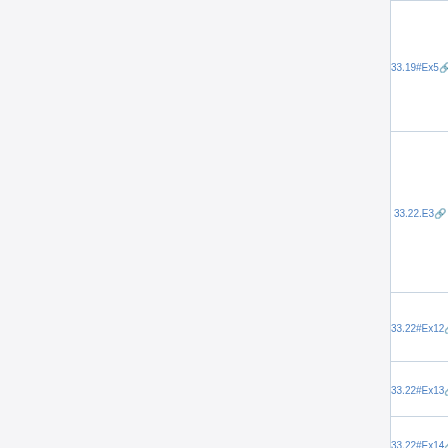| Reference | Formula |
| --- | --- |
| 33.19#Ex5 | δ₁ = (β₂ℓ₊₂ − 2(ψ(2ℓ − ... |
| 33.22.E3 | d²w/dx² + (k² − 2Z/x − ℓ... |
| 33.22#Ex12 | z = 2iρ |
| 33.22#Ex13 | κ = iη |
| 33.22#Ex14 | ρ = z/ (2i) |
| 33.22#Ex15 | η = κ/i |